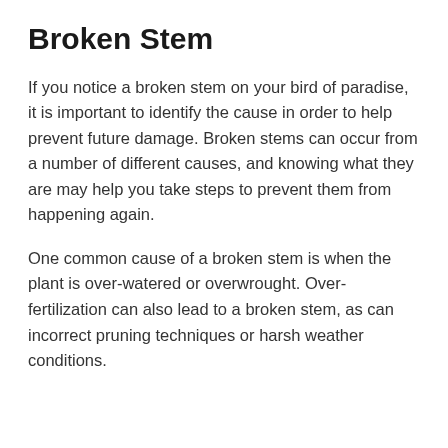Broken Stem
If you notice a broken stem on your bird of paradise, it is important to identify the cause in order to help prevent future damage. Broken stems can occur from a number of different causes, and knowing what they are may help you take steps to prevent them from happening again.
One common cause of a broken stem is when the plant is over-watered or overwrought. Over-fertilization can also lead to a broken stem, as can incorrect pruning techniques or harsh weather conditions.